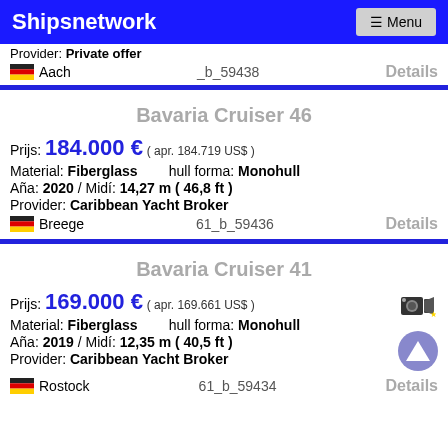Shipsnetwork  ☰ Menu
Provider: Private offer
🇩🇪 Aach   _b_59438   Details
Bavaria Cruiser 46
Prijs: 184.000 € ( apr. 184.719 US$ )
Material: Fiberglass   hull forma: Monohull
Aña: 2020 / Midí: 14,27 m ( 46,8 ft )
Provider: Caribbean Yacht Broker
🇩🇪 Breege   61_b_59436   Details
Bavaria Cruiser 41
Prijs: 169.000 € ( apr. 169.661 US$ )
Material: Fiberglass   hull forma: Monohull
Aña: 2019 / Midí: 12,35 m ( 40,5 ft )
Provider: Caribbean Yacht Broker
🇩🇪 Rostock   61_b_59434   Details